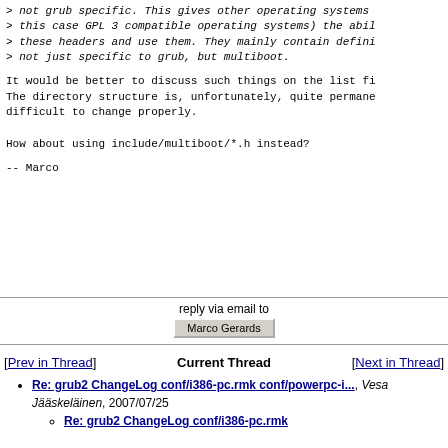> not grub specific. This gives other operating systems
> this case GPL 3 compatible operating systems) the abil
> these headers and use them. They mainly contain defini
> not just specific to grub, but multiboot.
It would be better to discuss such things on the list fi
The directory structure is, unfortunately, quite permane
difficult to change properly.

How about using include/multiboot/*.h instead?

--
Marco
reply via email to
Marco Gerards
[Prev in Thread]
Current Thread
[Next in Thread]
Re: grub2 ChangeLog conf/i386-pc.rmk conf/powerpc-i..., Vesa Jääskeläinen, 2007/07/25
Re: grub2 ChangeLog conf/i386-pc.rmk